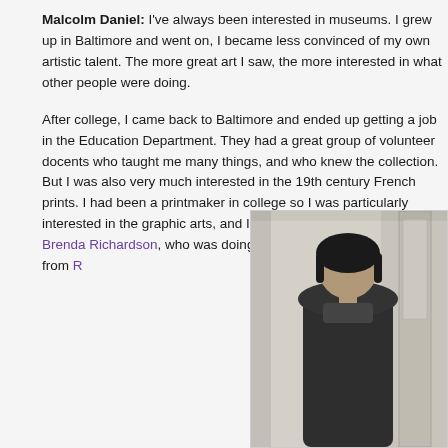Malcolm Daniel: I've always been interested in museums. I grew up in Baltimore and went on, I became less convinced of my own artistic talent. The more great art I saw, the more interested in what other people were doing.
After college, I came back to Baltimore and ended up getting a job in the Education Department. They had a great group of volunteer docents who taught me many things, and who knew the collection. But I was also very much interested in the 19th century French prints. I had been a printmaker in college so I was particularly interested in the graphic arts, and I worked with, at the time, Brenda Richardson, who was doing exciting shows that ranged from R...
[Figure (photo): Black and white photograph of a person standing, partially cropped at the right edge of the page, with a door or wall visible in the background.]